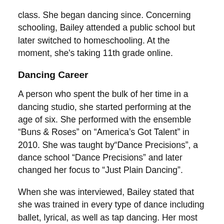class. She began dancing since. Concerning schooling, Bailey attended a public school but later switched to homeschooling. At the moment, she's taking 11th grade online.
Dancing Career
A person who spent the bulk of her time in a dancing studio, she started performing at the age of six. She performed with the ensemble “Buns & Roses” on “America’s Got Talent” in 2010. She was taught by“Dance Precisions”, a dance school “Dance Precisions” and later changed her focus to “Just Plain Dancing”.
When she was interviewed, Bailey stated that she was trained in every type of dance including ballet, lyrical, as well as tap dancing. Her most influential influence is Bailey always refers to Melvin TimTim, who was her coach and team leader.